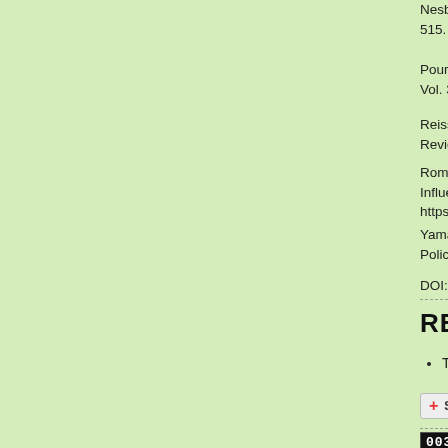Nesbakken, R. (1999). Price Sensitivity of Resi... 515. doi: https://doi.org/10.1016/S0140-9883(9...
Pourazarm, E., & Cooray, A. (2013). Estimating... Vol. 35: 546–558. doi: https://doi.org/10.1016/j....
Reiss, P. C., & White, M. W. (2005). Household... Review of Economic Studies. Vol. 72: 853–883.
Romero-Jordan, D., del Rio, P., & Penasco, C.... Influencing Household Electricity Consumption... https://doi.org/10.1016/j.enpol.2015.09.037.
Yamasaki, E., & Tominaga, N. (1997). Evolution... Policy. Vol. 25(11): 903–912. doi: https://doi.org
DOI: https://doi.org/10.15408/sjie.v7i2.6048 Abs...
REFBACKS
There are currently no refbacks.
[Figure (other): Share button with social media icons (del.icio.us, Digg, Facebook)]
[Figure (other): Visit counter badge showing 00386596 with View My Stats link]